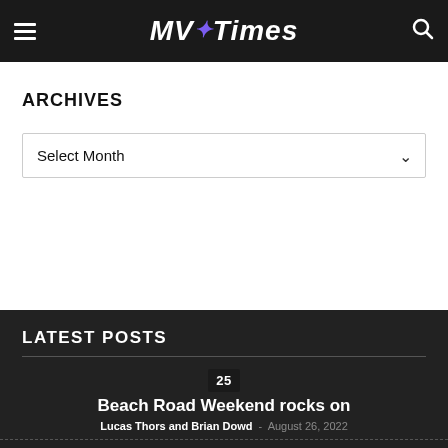MV Times
ARCHIVES
Select Month
LATEST POSTS
25
Beach Road Weekend rocks on
Lucas Thors and Brian Dowd - August 26, 2022